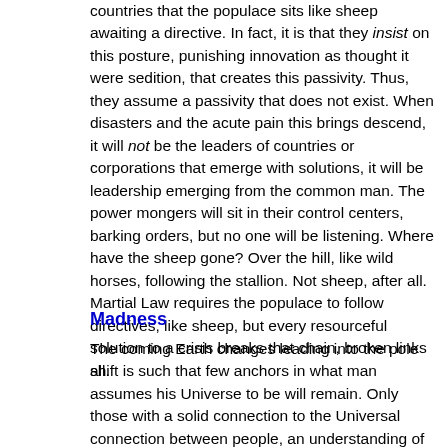countries that the populace sits like sheep awaiting a directive. In fact, it is that they insist on this posture, punishing innovation as thought it were sedition, that creates this passivity. Thus, they assume a passivity that does not exist. When disasters and the acute pain this brings descend, it will not be the leaders of countries or corporations that emerge with solutions, it will be leadership emerging from the common man. The power mongers will sit in their control centers, barking orders, but no one will be listening. Where have the sheep gone? Over the hill, like wild horses, following the stallion. Not sheep, after all. Martial Law requires the populace to follow directives, like sheep, but every resourceful solution to a crisis breaks that chain, broken links all.
Madness
The coming Earth changes leading into the pole shift is such that few anchors in what man assumes his Universe to be will remain. Only those with a solid connection to the Universal connection between people, an understanding of the spiritual realm and how